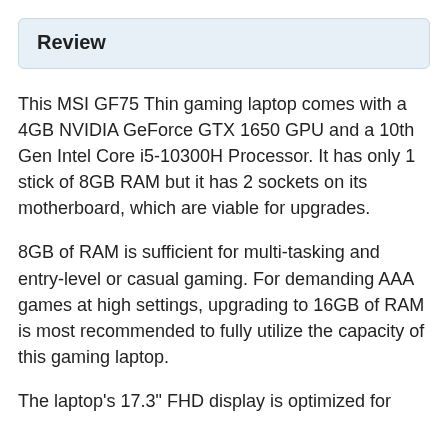Review
This MSI GF75 Thin gaming laptop comes with a 4GB NVIDIA GeForce GTX 1650 GPU and a 10th Gen Intel Core i5-10300H Processor. It has only 1 stick of 8GB RAM but it has 2 sockets on its motherboard, which are viable for upgrades.
8GB of RAM is sufficient for multi-tasking and entry-level or casual gaming. For demanding AAA games at high settings, upgrading to 16GB of RAM is most recommended to fully utilize the capacity of this gaming laptop.
The laptop's 17.3" FHD display is optimized for